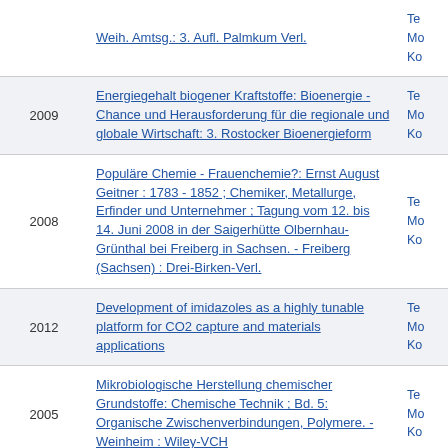| Year | Title |  |
| --- | --- | --- |
|  | Weih. Amtsg.: 3. Aufl. Palmkum Verl. | Te
Mo
Ko |
| 2009 | Energiegehalt biogener Kraftstoffe: Bioenergie - Chance und Herausforderung für die regionale und globale Wirtschaft: 3. Rostocker Bioenergieform | Te
Mo
Ko |
| 2008 | Populäre Chemie - Frauenchemie?: Ernst August Geitner : 1783 - 1852 ; Chemiker, Metallurge, Erfinder und Unternehmer ; Tagung vom 12. bis 14. Juni 2008 in der Saigerhütte Olbernhau-Grünthal bei Freiberg in Sachsen. - Freiberg (Sachsen) : Drei-Birken-Verl. | Te
Mo
Ko |
| 2012 | Development of imidazoles as a highly tunable platform for CO2 capture and materials applications | Te
Mo
Ko |
| 2005 | Mikrobiologische Herstellung chemischer Grundstoffe: Chemische Technik ; Bd. 5: Organische Zwischenverbindungen, Polymere. - Weinheim : Wiley-VCH | Te
Mo
Ko |
|  | Gewinnung von dieselartigen Kraftstoffen aus Pflanzenölen mittels homogen katalysierter Metathese von Methyloleat: Tagungsband / am | Te
Mo
Ko |